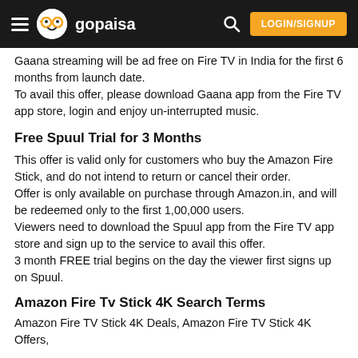gopaisa — LOGIN/SIGNUP
Gaana streaming will be ad free on Fire TV in India for the first 6 months from launch date.
To avail this offer, please download Gaana app from the Fire TV app store, login and enjoy un-interrupted music.
Free Spuul Trial for 3 Months
This offer is valid only for customers who buy the Amazon Fire Stick, and do not intend to return or cancel their order.
Offer is only available on purchase through Amazon.in, and will be redeemed only to the first 1,00,000 users.
Viewers need to download the Spuul app from the Fire TV app store and sign up to the service to avail this offer.
3 month FREE trial begins on the day the viewer first signs up on Spuul.
Amazon Fire Tv Stick 4K Search Terms
Amazon Fire TV Stick 4K Deals, Amazon Fire TV Stick 4K Offers,